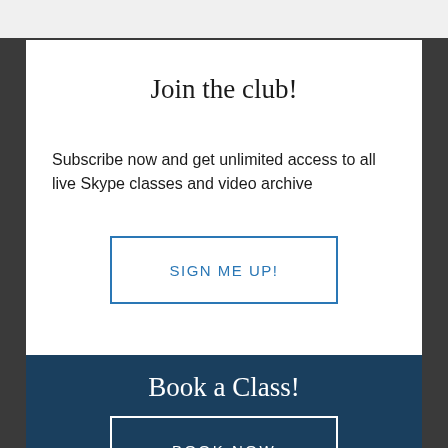Join the club!
Subscribe now and get unlimited access to all live Skype classes and video archive
SIGN ME UP!
Book a Class!
BOOK NOW